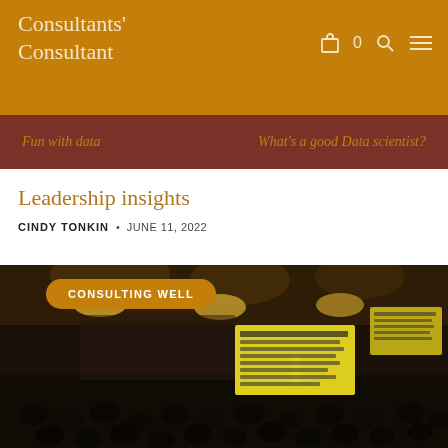Consultants' Consultant
Fun with data
What's a good Data scientist?
Leadership insights
CINDY TONKIN · JUNE 11, 2022
[Figure (photo): A presenter stands at the front of a darkly lit venue speaking to an audience. Two large yellow presentation slides are visible showing text about 'Imposter Syndrome'. Overhead pendant lights illuminate the room. A 'CONSULTING WELL' badge overlays the upper left of the image.]